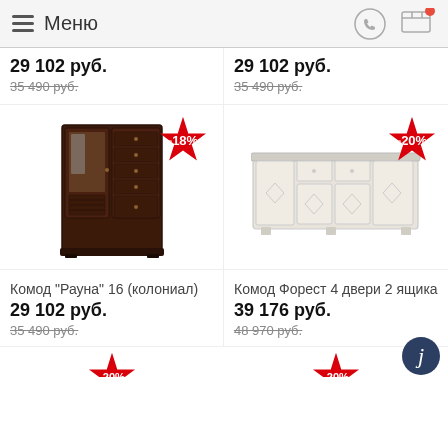Меню
29 102 руб. 35 490 руб.
29 102 руб. 35 490 руб.
[Figure (photo): Dark brown wardrobe with glass door and drawers, -18% badge]
[Figure (photo): White sideboard with 4 doors and 2 drawers, -20% badge]
Комод "Рауна" 16 (колониал)
29 102 руб.
35 490 руб.
Комод Форест 4 двери 2 ящика
39 176 руб.
48 970 руб.